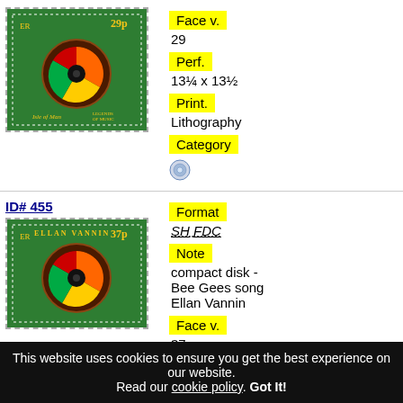[Figure (photo): 29p Isle of Man stamp showing a compact disk/record design on green background with 'Legends of Music' text]
Face v.
29
Perf.
13¼ x 13½
Print.
Lithography
Category
[Figure (illustration): Small compact disk icon]
ID# 455
[Figure (photo): 37p stamp showing Ellan Vannin / Isle of Man with compact disk design on green background]
Format
SH FDC
Note
compact disk - Bee Gees song Ellan Vannin
Face v.
37
Perf.
This website uses cookies to ensure you get the best experience on our website. Read our cookie policy. Got It!